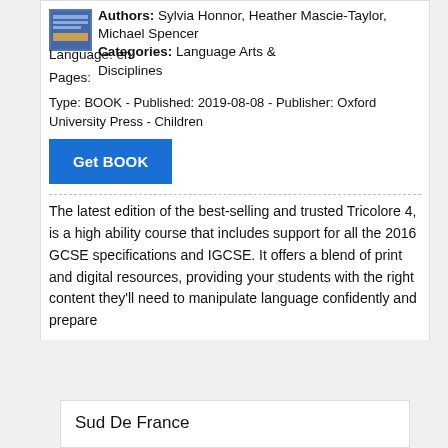Authors: Sylvia Honnor, Heather Mascie-Taylor, Michael Spencer
Language: en
Pages:
Categories: Language Arts & Disciplines
Type: BOOK - Published: 2019-08-08 - Publisher: Oxford University Press - Children
Get BOOK
The latest edition of the best-selling and trusted Tricolore 4, is a high ability course that includes support for all the 2016 GCSE specifications and IGCSE. It offers a blend of print and digital resources, providing your students with the right content they'll need to manipulate language confidently and prepare
Sud De France